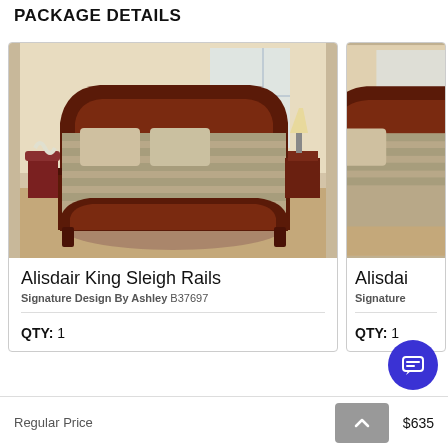PACKAGE DETAILS
[Figure (photo): Photo of Alisdair King Sleigh Rails bed in a bedroom setting, dark cherry wood finish with striped bedding, nightstand and chair visible in background]
Alisdair King Sleigh Rails
Signature Design By Ashley B37697
QTY: 1
[Figure (photo): Partial photo of a second Alisdair bed product, same dark cherry wood sleigh bed style, cropped on right edge]
Alisdai
Signature
QTY: 1
Regular Price
$635